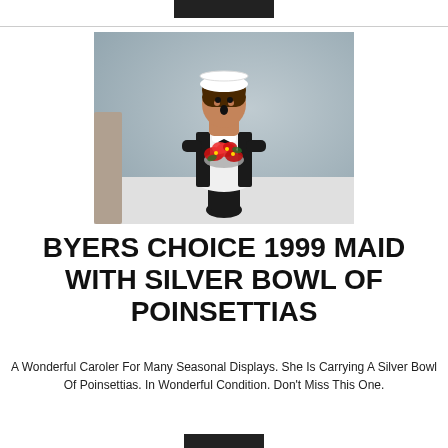[Figure (photo): A Byers Choice 1999 Maid caroler figurine dressed in a black and white maid uniform, holding a silver bowl filled with red poinsettias, photographed against a light blue-gray background.]
BYERS CHOICE 1999 MAID WITH SILVER BOWL OF POINSETTIAS
A Wonderful Caroler For Many Seasonal Displays. She Is Carrying A Silver Bowl Of Poinsettias. In Wonderful Condition. Don't Miss This One.